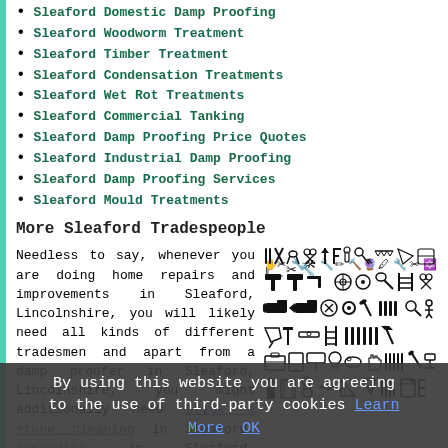Sleaford Domestic Damp Proofing
Sleaford Woodworm Treatment
Sleaford Timber Treatment
Sleaford Condensation Treatments
Sleaford Wet Rot Treatments
Sleaford Commercial Tanking
Sleaford Damp Proofing Price Quotes
Sleaford Industrial Damp Proofing
Sleaford Damp Proofing Services
Sleaford Mould Treatments
More Sleaford Tradespeople
Needless to say, whenever you are doing home repairs and improvements in Sleaford, Lincolnshire, you will likely need all kinds of different tradesmen and apart from a damp proofer in Sleaford, Lincolnshire, you might additionally need brick & stone cleaning in Sleaford, screeding in Sleaford, electricians in Sleaford, a flooring specialist in Sleaford, a painter and...
[Figure (illustration): Black and white icons of various tradespeople tools and equipment arranged in a grid]
By using this website you are agreeing to the use of third-party cookies Learn More OK